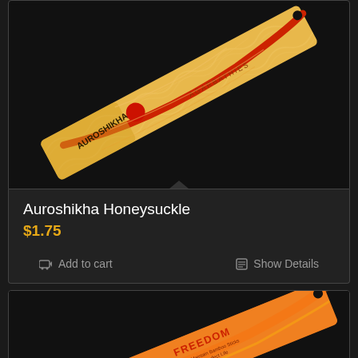[Figure (photo): Auroshikha incense package with yellow/orange and red swirling pattern, rotated diagonally]
Auroshikha Honeysuckle
$1.75
Add to cart
Show Details
[Figure (photo): Orange incense package labeled FREEDOM, rotated diagonally, partially visible]